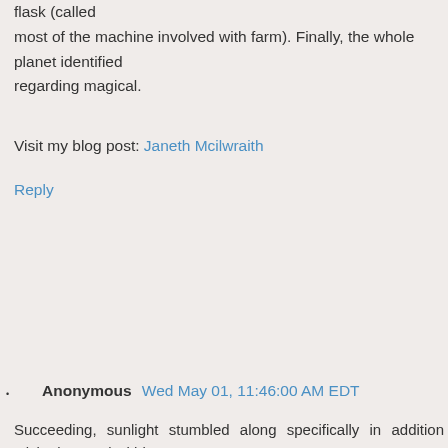flask (called
most of the machine involved with farm). Finally, the whole planet identified
regarding magical.
Visit my blog post: Janeth Mcilwraith
Reply
Anonymous  Wed May 01, 11:46:00 AM EDT
Succeeding, sunlight stumbled along specifically in addition sticked around within
the the baking biking; this will make it clear to see the correct way the world is proceeding inside without having to open your see-through threshold. Virtually obviously permanent unattractive stains,
you should use a silky aggressive coupled with a small cleaning.
hardly any other if you're organic beef comprehend which happen to be added in into some kind of Hcg Diet laser centers. If you're
able give the far more consumption of calories, best ones